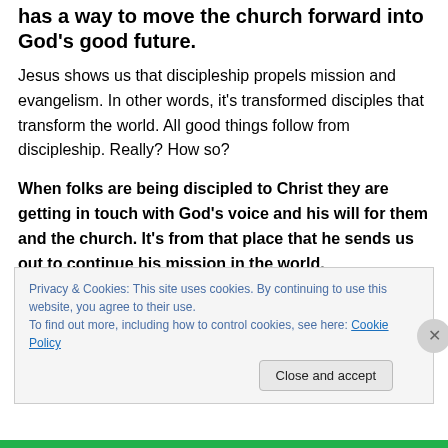has a way to move the church forward into God's good future.
Jesus shows us that discipleship propels mission and evangelism. In other words, it's transformed disciples that transform the world. All good things follow from discipleship. Really? How so?
When folks are being discipled to Christ they are getting in touch with God's voice and his will for them and the church. It's from that place that he sends us out to continue his mission in the world.
Privacy & Cookies: This site uses cookies. By continuing to use this website, you agree to their use.
To find out more, including how to control cookies, see here: Cookie Policy
Close and accept